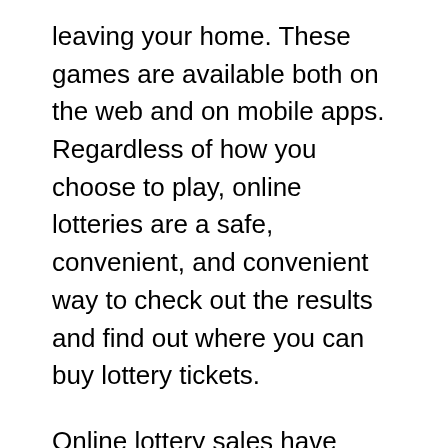leaving your home. These games are available both on the web and on mobile apps. Regardless of how you choose to play, online lotteries are a safe, convenient, and convenient way to check out the results and find out where you can buy lottery tickets.
Online lottery sales have increased revenues for the state, and many lottery enthusiasts enjoy the convenience of shopping online. Unfortunately, online lottery sales have also riled anti-gambling groups, which have been staunch opponents of expansion. Nevertheless, online lottery sales are a positive for the US economy, and online lotteries have surpassed online casinos. And while online lottery sales do not yet outpace traditional brick-